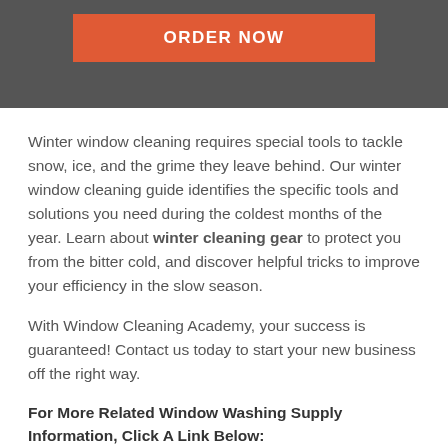[Figure (other): Dark gray header bar with orange 'ORDER NOW' button]
Winter window cleaning requires special tools to tackle snow, ice, and the grime they leave behind. Our winter window cleaning guide identifies the specific tools and solutions you need during the coldest months of the year. Learn about winter cleaning gear to protect you from the bitter cold, and discover helpful tricks to improve your efficiency in the slow season.
With Window Cleaning Academy, your success is guaranteed! Contact us today to start your new business off the right way.
For More Related Window Washing Supply Information, Click A Link Below:
Window Cleaning Solution